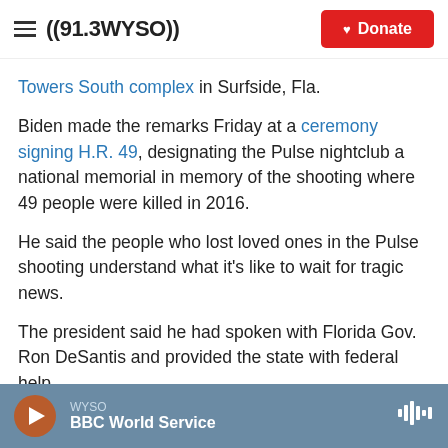((91.3 WYSO)) | Donate
Towers South complex in Surfside, Fla.
Biden made the remarks Friday at a ceremony signing H.R. 49, designating the Pulse nightclub a national memorial in memory of the shooting where 49 people were killed in 2016.
He said the people who lost loved ones in the Pulse shooting understand what it's like to wait for tragic news.
The president said he had spoken with Florida Gov. Ron DeSantis and provided the state with federal help.
WYSO — BBC World Service